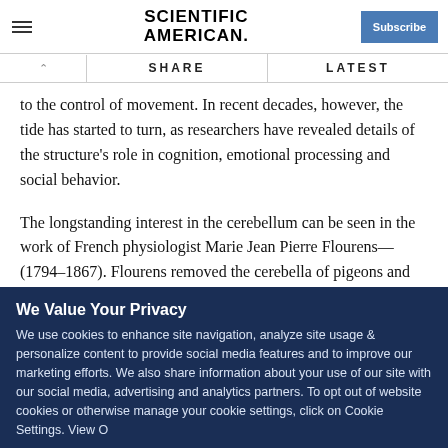Scientific American — Subscribe
SHARE   LATEST
to the control of movement. In recent decades, however, the tide has started to turn, as researchers have revealed details of the structure's role in cognition, emotional processing and social behavior.
The longstanding interest in the cerebellum can be seen in the work of French physiologist Marie Jean Pierre Flourens—(1794–1867). Flourens removed the cerebella of pigeons and
We Value Your Privacy
We use cookies to enhance site navigation, analyze site usage & personalize content to provide social media features and to improve our marketing efforts. We also share information about your use of our site with our social media, advertising and analytics partners. To opt out of website cookies or otherwise manage your cookie settings, click on Cookie Settings. View O